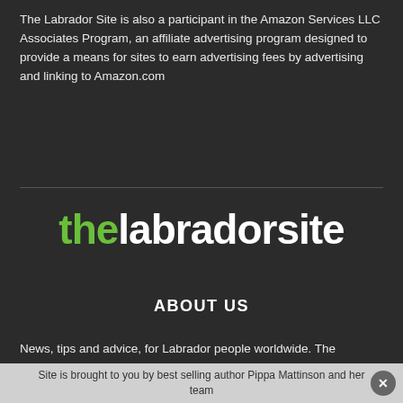The Labrador Site is also a participant in the Amazon Services LLC Associates Program, an affiliate advertising program designed to provide a means for sites to earn advertising fees by advertising and linking to Amazon.com
[Figure (logo): The Labrador Site logo: 'the' in green, 'labradorsite' in white, bold sans-serif]
ABOUT US
News, tips and advice, for Labrador people worldwide. The Labrador Site is brought to you by best selling author Pippa Mattinson and her team